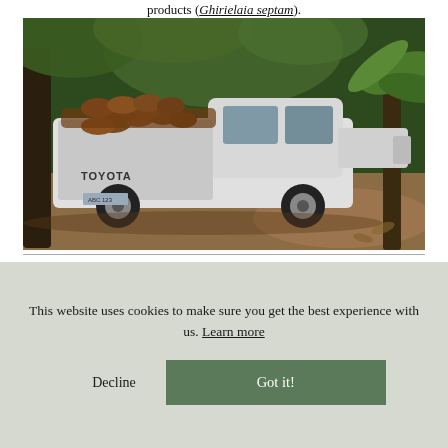products (Ghirielaia septam).
[Figure (photo): A white Toyota pickup truck loaded with logs/timber in the bed, parked on a dirt track surrounded by tropical forest vegetation.]
This website uses cookies to make sure you get the best experience with us. Learn more
Decline
Got it!